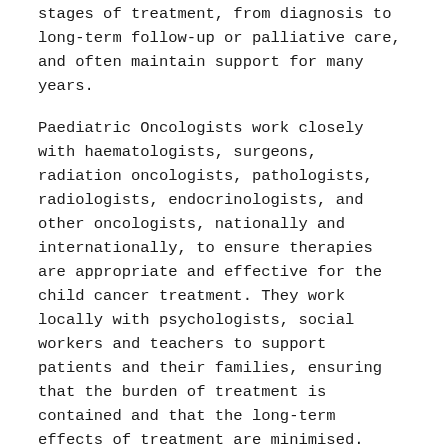stages of treatment, from diagnosis to long-term follow-up or palliative care, and often maintain support for many years.
Paediatric Oncologists work closely with haematologists, surgeons, radiation oncologists, pathologists, radiologists, endocrinologists, and other oncologists, nationally and internationally, to ensure therapies are appropriate and effective for the child cancer treatment. They work locally with psychologists, social workers and teachers to support patients and their families, ensuring that the burden of treatment is contained and that the long-term effects of treatment are minimised.
Evidence-based medicine is at its core, and oncology is characterised by the expectation that patients will be treated according to clinical trials whenever possible.
Paediatric Treatment – Best Oncologist in Gurgaon – The Onco